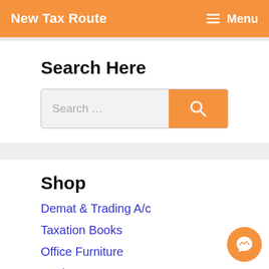New Tax Route  Menu
Search Here
[Figure (screenshot): Search input bar with orange search button]
Shop
Demat & Trading A/c
Taxation Books
Office Furniture
Stationery